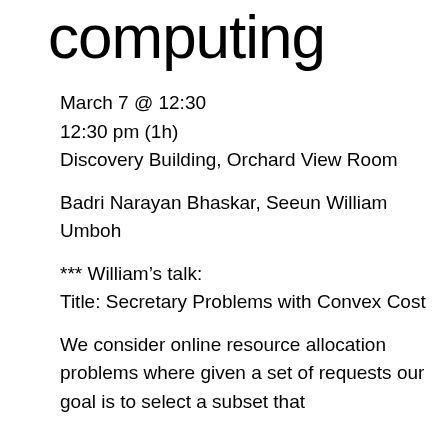computing
March 7 @ 12:30
12:30 pm (1h)
Discovery Building, Orchard View Room
Badri Narayan Bhaskar, Seeun William Umboh
*** William’s talk:
Title: Secretary Problems with Convex Cost
We consider online resource allocation problems where given a set of requests our goal is to select a subset that